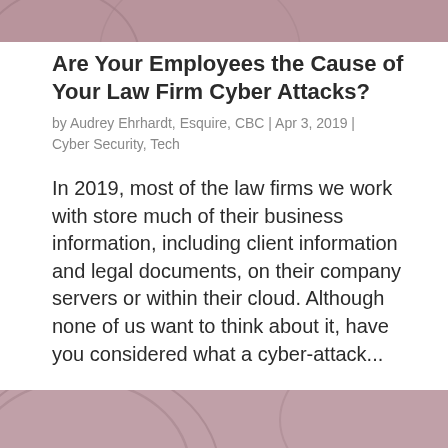[Figure (photo): Partial photo strip at the top of the page showing a muted pinkish/mauve image (cropped, header image for article)]
Are Your Employees the Cause of Your Law Firm Cyber Attacks?
by Audrey Ehrhardt, Esquire, CBC | Apr 3, 2019 | Cyber Security, Tech
In 2019, most of the law firms we work with store much of their business information, including client information and legal documents, on their company servers or within their cloud. Although none of us want to think about it, have you considered what a cyber-attack...
[Figure (photo): Partial photo strip at the bottom of the page showing a muted pinkish/mauve image with curved lines (cropped, continuation of article image)]